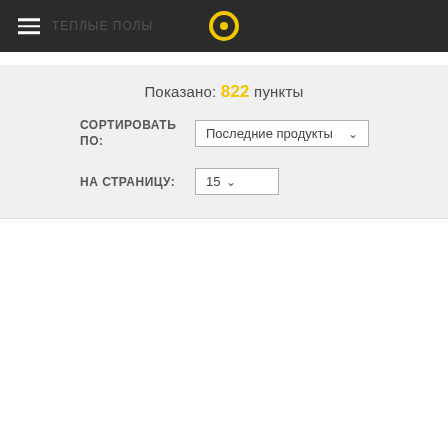Navigation bar with hamburger menu and logo
Показано: 822 пункты
СОРТИРОВАТЬ ПО: Последние продукты
НА СТРАНИЦУ: 15
[Figure (screenshot): White product listing area below the controls]